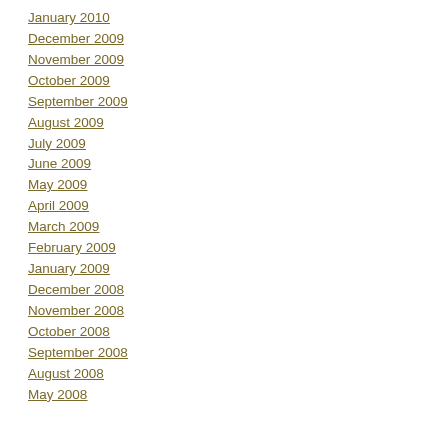January 2010
December 2009
November 2009
October 2009
September 2009
August 2009
July 2009
June 2009
May 2009
April 2009
March 2009
February 2009
January 2009
December 2008
November 2008
October 2008
September 2008
August 2008
May 2008